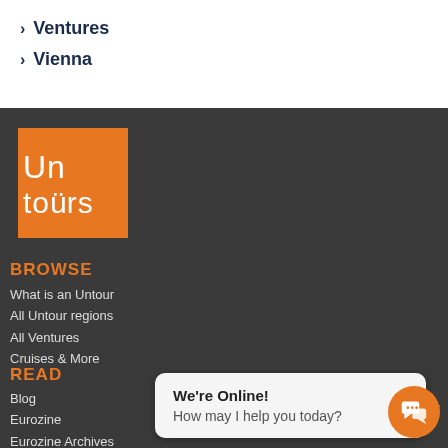> Ventures
> Vienna
[Figure (logo): Untours orange square logo with white text 'Un tours' (with umlaut dots over u in tours)]
BROWSE
What is an Untour
All Untour regions
All Ventures
Cruises & More
READ
Blog
Eurozine
Eurozine Archives
Resources
Untours Cafe
We're Online! How may I help you today?